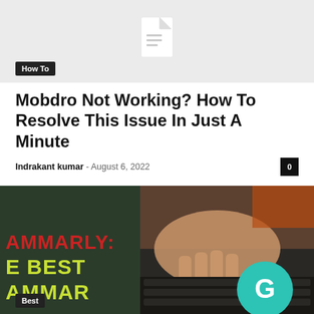[Figure (illustration): Light gray placeholder image area with a document/file icon in the center]
How To
Mobdro Not Working? How To Resolve This Issue In Just A Minute
Indrakant kumar - August 6, 2022
[Figure (photo): Photo of a person's hand typing on a laptop keyboard, with a Grammarly logo circle overlay and text reading 'AMMARLY: E BEST AMMAR' on the left side in red and yellow-green. A 'Best' label overlaid at bottom left.]
Best
Grammarly: The Best Grammar Checker